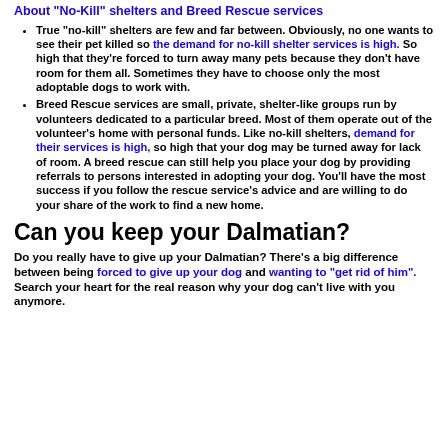About "No-Kill" shelters and Breed Rescue services
True "no-kill" shelters are few and far between. Obviously, no one wants to see their pet killed so the demand for no-kill shelter services is high. So high that they're forced to turn away many pets because they don't have room for them all. Sometimes they have to choose only the most adoptable dogs to work with.
Breed Rescue services are small, private, shelter-like groups run by volunteers dedicated to a particular breed. Most of them operate out of the volunteer's home with personal funds. Like no-kill shelters, demand for their services is high, so high that your dog may be turned away for lack of room. A breed rescue can still help you place your dog by providing referrals to persons interested in adopting your dog. You'll have the most success if you follow the rescue service's advice and are willing to do your share of the work to find a new home.
Can you keep your Dalmatian?
Do you really have to give up your Dalmatian? There's a big difference between being forced to give up your dog and wanting to "get rid of him". Search your heart for the real reason why your dog can't live with you anymore.